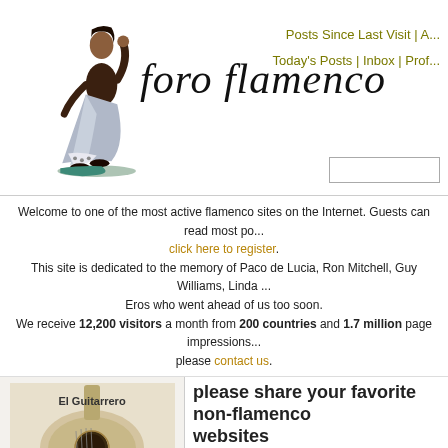[Figure (illustration): Flamenco dancer illustration - woman in skirt with raised arm]
foro flamenco
Posts Since Last Visit | A...
Today's Posts | Inbox | Prof...
Welcome to one of the most active flamenco sites on the Internet. Guests can read most po... click here to register. This site is dedicated to the memory of Paco de Lucia, Ron Mitchell, Guy Williams, Linda ... Eros who went ahead of us too soon. We receive 12,200 visitors a month from 200 countries and 1.7 million page impressions... please contact us.
[Figure (photo): El Guitarrero - a full-length documentary - close-up photo of guitar soundhole]
please share your favorite non-flamenco websites
Users viewing this topic: none
All Forums >>Discussions >>Off Topic >>
| Login | Message |
| --- | --- |
| joevidetto | please share y... |